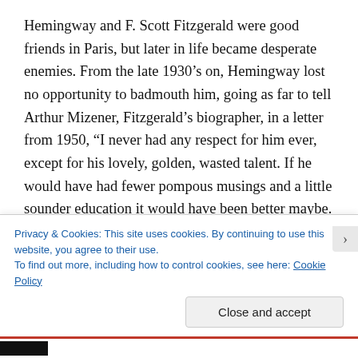Hemingway and F. Scott Fitzgerald were good friends in Paris, but later in life became desperate enemies. From the late 1930’s on, Hemingway lost no opportunity to badmouth him, going as far to tell Arthur Mizener, Fitzgerald’s biographer, in a letter from 1950, “I never had any respect for him ever, except for his lovely, golden, wasted talent. If he would have had fewer pompous musings and a little sounder education it would have been better maybe. But anytime you got him all straightened out and taking his work seriously Zelda would get jealous and knock him out of it.” This doesn’t sound like your old warm,
Privacy & Cookies: This site uses cookies. By continuing to use this website, you agree to their use.
To find out more, including how to control cookies, see here: Cookie Policy
Close and accept